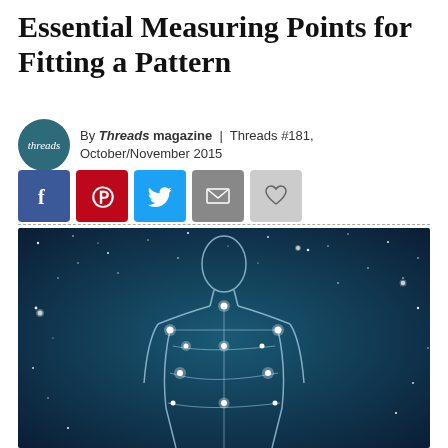Essential Measuring Points for Fitting a Pattern
By Threads magazine | Threads #181, October/November 2015
[Figure (infographic): Social media sharing buttons: Facebook (blue), Pinterest (red), Twitter (light blue), Email (grey), Favorite heart (light grey)]
[Figure (illustration): Artistic illustration of a human body outline against a starry night sky background, with glowing constellation-like points marking measurement locations on the body.]